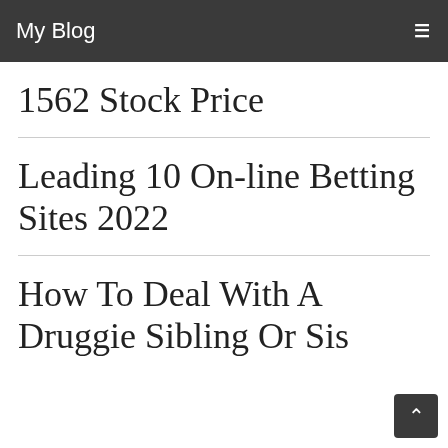Reviews — My Blog
1562 Stock Price
Leading 10 On-line Betting Sites 2022
How To Deal With A Druggie Sibling Or Sis